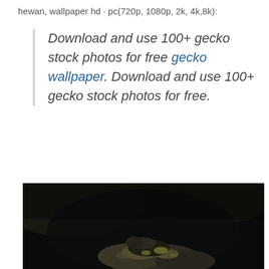hewan, wallpaper hd · pc(720p, 1080p, 2k, 4k,8k):
Download and use 100+ gecko stock photos for free gecko wallpaper. Download and use 100+ gecko stock photos for free.
[Figure (photo): Close-up macro photograph of a gecko or small reptile on a rock, set against a very dark/black background. The animal appears mottled with dark and light patches.]